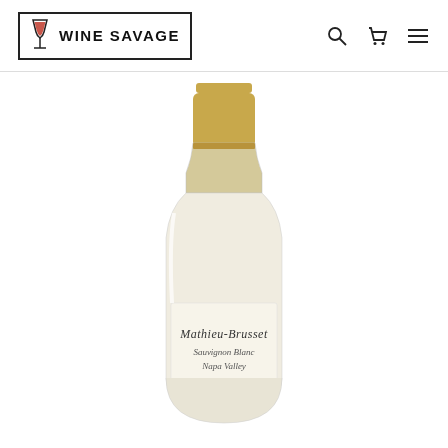Wine Savage — navigation header with logo, search, cart, and menu icons
[Figure (photo): A wine bottle with a gold foil capsule and cream/white label reading 'Mathieu-Brusset Sauvignon Blanc Napa Valley', photographed on a white background, showing the upper two-thirds of the bottle.]